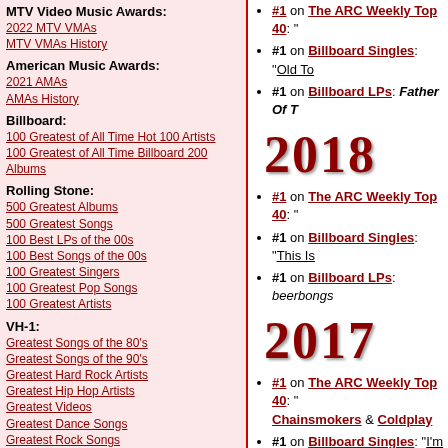MTV Video Music Awards:
2022 MTV VMAs
MTV VMAs History
American Music Awards:
2021 AMAs
AMAs History
Billboard:
100 Greatest of All Time Hot 100 Artists
100 Greatest of All Time Billboard 200 Albums
Rolling Stone:
500 Greatest Albums
500 Greatest Songs
100 Best LPs of the 00s
100 Best Songs of the 00s
100 Greatest Singers
100 Greatest Pop Songs
100 Greatest Artists
VH-1:
Greatest Songs of the 80's
Greatest Songs of the 90's
Greatest Hard Rock Artists
Greatest Hip Hop Artists
Greatest Videos
Greatest Dance Songs
Greatest Rock Songs
Greatest Women of Rock
2018
#1 on The ARC Weekly Top 40: "
#1 on Billboard Singles: "Old To
#1 on Billboard LPs: Father Of T
2018
#1 on The ARC Weekly Top 40: "
#1 on Billboard Singles: "This Is
#1 on Billboard LPs: beerbongs
2017
#1 on The ARC Weekly Top 40: " Chainsmokers & Coldplay
#1 on Billboard Singles: "I'm The Quavo, Chance The Rapper & Li
#1 on Billboard LPs: DAMN. by K
2016